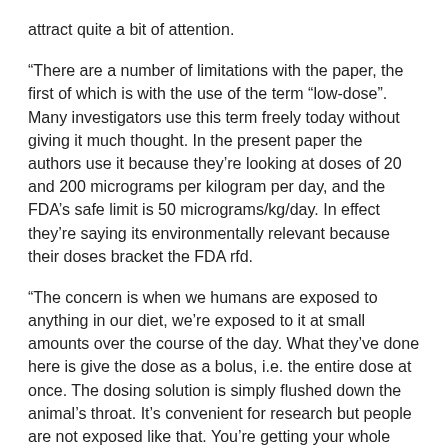attract quite a bit of attention.
“There are a number of limitations with the paper, the first of which is with the use of the term “low-dose”. Many investigators use this term freely today without giving it much thought. In the present paper the authors use it because they’re looking at doses of 20 and 200 micrograms per kilogram per day, and the FDA’s safe limit is 50 micrograms/kg/day. In effect they’re saying its environmentally relevant because their doses bracket the FDA rfd.
“The concern is when we humans are exposed to anything in our diet, we’re exposed to it at small amounts over the course of the day. What they’ve done here is give the dose as a bolus, i.e. the entire dose at once. The dosing solution is simply flushed down the animal’s throat. It’s convenient for research but people are not exposed like that. You’re getting your whole safe level or more all at once. When a risk assessment is done, the FDA estimates exposure over the course of a person’s daytime exposure. Regardless, the method of dosing the animals is a limitation of the study and of the interpretations.
“Another comment I have is, in the statistical methods – it’s hard to tell but it doesn’t look they took litter effects into consideration. A litter is giving birth to 10 to 17 pups per litter. Chemically, what